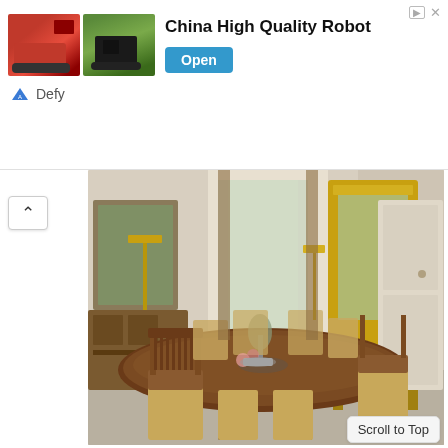[Figure (screenshot): Advertisement banner: two images of robots on the left, bold text 'China High Quality Robot' in center, blue 'Open' button on right, 'Defy' branding with triangle logo below, sponsored/close icons in top right corner]
[Figure (photo): Elegant period dining room with long dark wood oval table, upholstered dining chairs with yellow/gold cushions, ornate gilded mirror and console table on right, classical paintings on left wall, candelabras and floral centerpiece, large windows with draped curtains in background]
How To Style A Reception Room In A Period Home, According To An Expert
[Figure (screenshot): Scroll to Top button in bottom right corner]